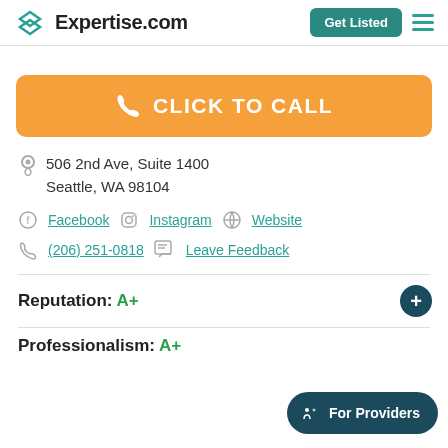Expertise.com | Get Listed
[Figure (other): Orange CLICK TO CALL button with phone icon]
506 2nd Ave, Suite 1400
Seattle, WA 98104
Facebook  Instagram  Website
(206) 251-0818  Leave Feedback
Reputation: A+
Professionalism: A+